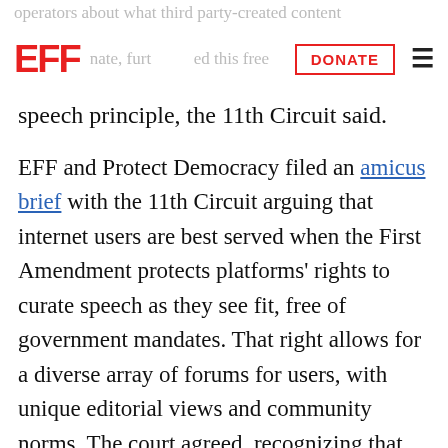operators about what third party-created content [EFF logo] nate, further [DONATE button] ed this free [hamburger menu]
speech principle, the 11th Circuit said.
EFF and Protect Democracy filed an amicus brief with the 11th Circuit arguing that internet users are best served when the First Amendment protects platforms’ rights to curate speech as they see fit, free of government mandates. That right allows for a diverse array of forums for users, with unique editorial views and community norms. The court agreed, recognizing that “by engaging in this content moderation, the platforms develop particular market niches, foster different sorts of a…